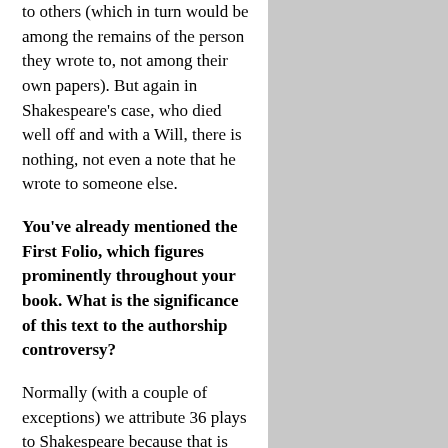and minds, including various items to others (which in turn would be among the remains of the person they wrote to, not among their own papers). But again in Shakespeare's case, who died well off and with a Will, there is nothing, not even a note that he wrote to someone else.
You've already mentioned the First Folio, which figures prominently throughout your book. What is the significance of this text to the authorship controversy?
Normally (with a couple of exceptions) we attribute 36 plays to Shakespeare because that is the number of plays in the first collection of his writings, published seven years after his death, in 1623. It is universally called the First Folio, as opposed to the longer formal title. Of those 36 plays, 18